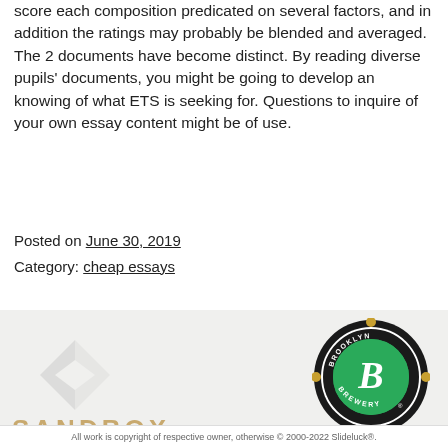score each composition predicated on several factors, and in addition the ratings may probably be blended and averaged. The 2 documents have become distinct. By reading diverse pupils' documents, you might be going to develop an knowing of what ETS is seeking for. Questions to inquire of your own essay content might be of use.
Posted on June 30, 2019
Category: cheap essays
[Figure (logo): Sandbox company logo with diamond/chevron watermark graphic and gold SANDBOX text]
[Figure (logo): Brooklyn Brewery circular logo with green background, cursive B, black ring with BROOKLYN BREWERY text and decorative dots]
All work is copyright of respective owner, otherwise © 2000-2022 Slideluck®.